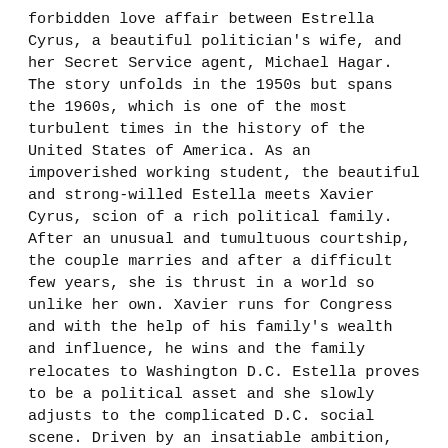forbidden love affair between Estrella Cyrus, a beautiful politician's wife, and her Secret Service agent, Michael Hagar. The story unfolds in the 1950s but spans the 1960s, which is one of the most turbulent times in the history of the United States of America. As an impoverished working student, the beautiful and strong-willed Estella meets Xavier Cyrus, scion of a rich political family. After an unusual and tumultuous courtship, the couple marries and after a difficult few years, she is thrust in a world so unlike her own. Xavier runs for Congress and with the help of his family's wealth and influence, he wins and the family relocates to Washington D.C. Estella proves to be a political asset and she slowly adjusts to the complicated D.C. social scene. Driven by an insatiable ambition, Xavier becomes a member of an ancient secret society that regularly conducts magic sex rituals. Estella is unhappy in her marriage but she has a daughter and a few causes to fill her days until she falls in love with Michael and her world turns upside down.
S.M. Ford's Memoirs of The Senator's Wife is such an interesting read that the reader may need some time to process the various twists and turns of the plot. The main plot, however, is the relationship between Estella and